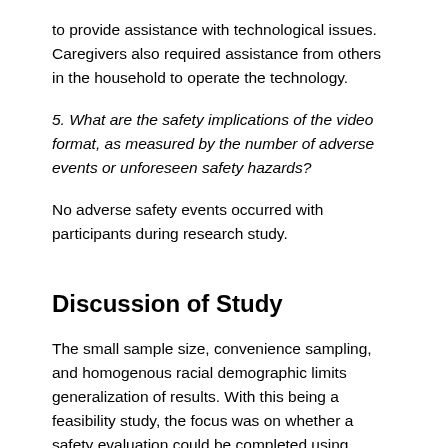to provide assistance with technological issues. Caregivers also required assistance from others in the household to operate the technology.
5. What are the safety implications of the video format, as measured by the number of adverse events or unforeseen safety hazards?
No adverse safety events occurred with participants during research study.
Discussion of Study
The small sample size, convenience sampling, and homogenous racial demographic limits generalization of results. With this being a feasibility study, the focus was on whether a safety evaluation could be completed using telehealth and the results focused mainly on